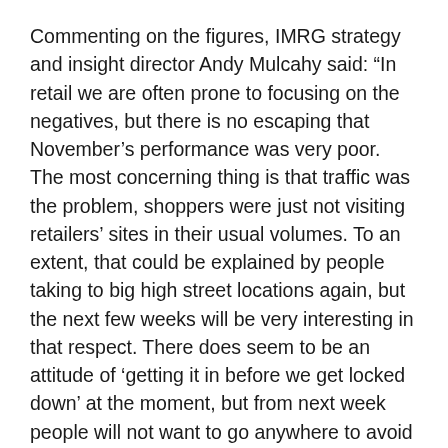Commenting on the figures, IMRG strategy and insight director Andy Mulcahy said: “In retail we are often prone to focusing on the negatives, but there is no escaping that November’s performance was very poor. The most concerning thing is that traffic was the problem, shoppers were just not visiting retailers’ sites in their usual volumes. To an extent, that could be explained by people taking to big high street locations again, but the next few weeks will be very interesting in that respect. There does seem to be an attitude of ‘getting it in before we get locked down’ at the moment, but from next week people will not want to go anywhere to avoid having to isolate over Christmas. We will, from a retail perspective, be in a lockdown in all but name, which will really skew trading figures.”
At Capgemini, Lucy Gibbs, managing consultant and retail lead for analytics and AI, added: “The drop in